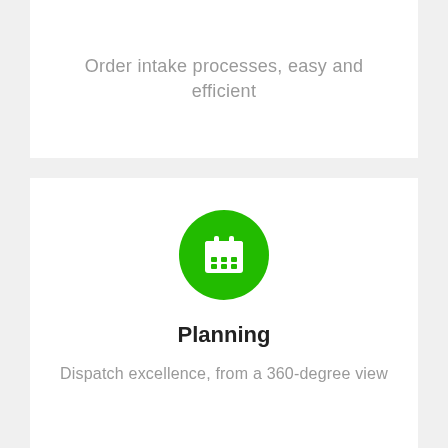Order intake processes, easy and efficient
[Figure (illustration): Green circle icon with a white calendar/planning icon inside]
Planning
Dispatch excellence, from a 360-degree view